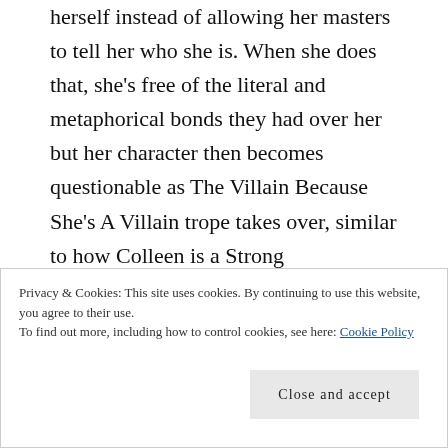herself instead of allowing her masters to tell her who she is. When she does that, she's free of the literal and metaphorical bonds they had over her but her character then becomes questionable as The Villain Because She's A Villain trope takes over, similar to how Colleen is a Strong Independent Woman because she's a Strong Independent Woman. There's no real build or crescendo leading up to it and while it's a great plot twist, it's just a tad confusing why she'd want to go from sleeping wistfully in Matt's bed remembering sweet memories
Privacy & Cookies: This site uses cookies. By continuing to use this website, you agree to their use.
To find out more, including how to control cookies, see here: Cookie Policy
Close and accept